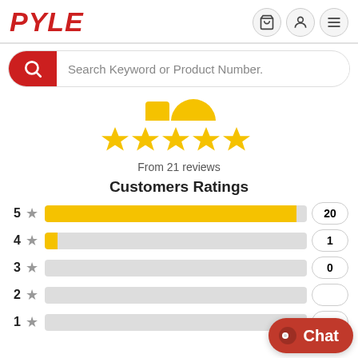PYLE
[Figure (screenshot): Search bar with red magnifying glass icon and placeholder text 'Search Keyword or Product Number.']
[Figure (infographic): Partial yellow circular graphic at top (cropped product rating icon)]
[Figure (infographic): Five gold stars rating display]
From 21 reviews
Customers Ratings
| Stars | Bar | Count |
| --- | --- | --- |
| 5 | (bar ~95%) | 20 |
| 4 | (bar ~5%) | 1 |
| 3 | (bar 0%) | 0 |
| 2 | (bar 0%) | 0 |
| 1 | (bar 0%) | 0 |
[Figure (infographic): Chat button overlay in bottom right corner]